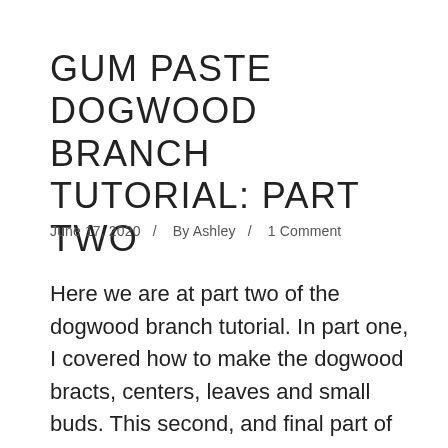GUM PASTE DOGWOOD BRANCH TUTORIAL: PART TWO
June 17, 2020  /  By Ashley  /  1 Comment
Here we are at part two of the dogwood branch tutorial. In part one, I covered how to make the dogwood bracts, centers, leaves and small buds. This second, and final part of the tutorial will cover making the bl...